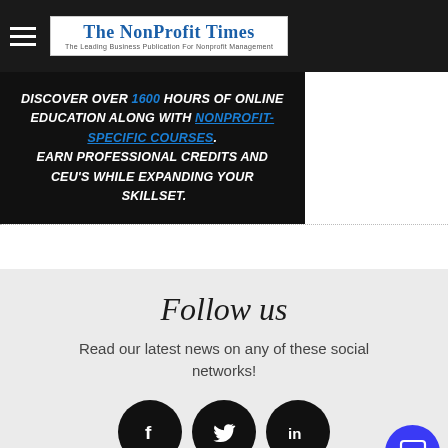The NonProfit Times — The Leading Business Publication For Nonprofit Management
[Figure (infographic): Promotional banner with text: DISCOVER OVER 1600 HOURS OF ONLINE EDUCATION ALONG WITH NONPROFIT-SPECIFIC COURSES. EARN PROFESSIONAL CREDITS AND CEU'S WHILE EXPANDING YOUR SKILLSET.]
Follow us
Read our latest news on any of these social networks!
[Figure (illustration): Three black circular social media icons: Facebook (f), Twitter (bird), LinkedIn (in)]